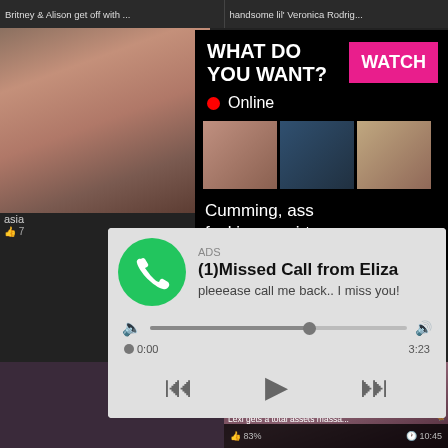Britney & Alison get off with ...
handsome lil' Veronica Rodrig...
[Figure (screenshot): Adult video thumbnail - woman]
[Figure (screenshot): Ad popup: WHAT DO YOU WANT? WATCH button, Online indicator, thumbnails, text: Cumming, ass fucking, squirt or... • ADS]
WHAT DO YOU WANT?
WATCH
Online
Cumming, ass fucking, squirt or...
• ADS
asia
c...
8:00
536
[Figure (screenshot): Missed call ad popup with WhatsApp-style icon, ADS label, title: (1)Missed Call from Eliza, subtitle: pleeease call me back.. I miss you!, audio player with progress bar, time 0:00 to 3:23, playback controls]
ADS
(1)Missed Call from Eliza
pleeease call me back.. I miss you!
0:00
3:23
pure TABOO Virtual secretary...
83%
15:28
Lexi gets a total assets massa...
83%
10:45
468